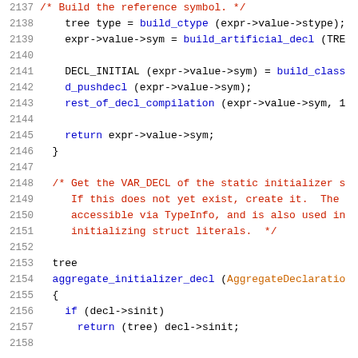[Figure (screenshot): Source code listing showing C/C++ code with line numbers 2137-2158. Lines include code for building reference symbols, tree types, artificial declarations, and aggregate initializer declarations. Dark background with colored syntax highlighting.]